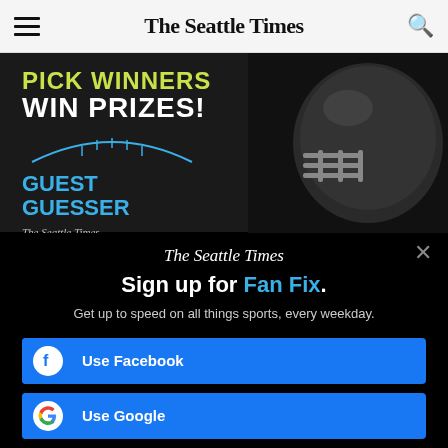The Seattle Times
[Figure (screenshot): Dark advertisement banner for The Seattle Times 'Guest Guesser' promotion. Text reads 'PICK WINNERS WIN PRIZES!' in yellow/green and white. 'GUEST GUESSER' in blue text with football arc graphic. The Seattle Times logo. Football helmet visible on right side.]
[Figure (screenshot): Modal popup on black background with The Seattle Times logo, headline 'Sign up for Fan Fix.' with 'Fan Fix' in blue, subtext 'Get up to speed on all things sports, every weekday.', and two sign-in buttons: 'Use Facebook' and 'Use Google' (partially visible).]